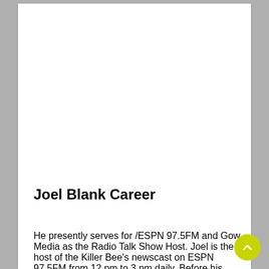Joel Blank Career
He presently serves for /ESPN 97.5FM and Gow Media as the Radio Talk Show Host. Joel is the host of the Killer Bee's newscast on ESPN 97.5FM from 12 pm to 3 pm daily. Before his